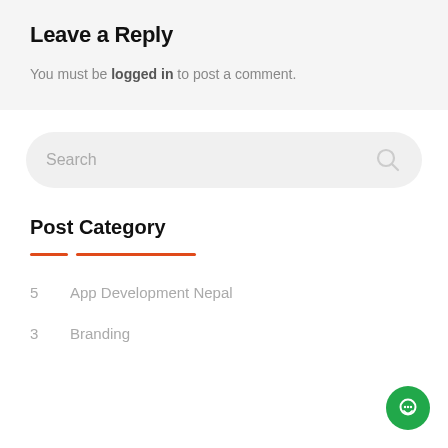Leave a Reply
You must be logged in to post a comment.
Search
Post Category
5    App Development Nepal
3    Branding